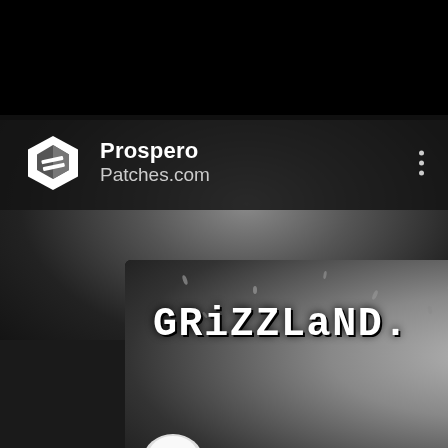[Figure (screenshot): Social media post card from Prospero Patches.com. Top section is black. Middle section shows a dark grey gradient background. A header bar contains a white hexagon/box logo icon, bold text 'Prospero' and 'Patches.com', and a three-dot menu icon on the right. Below is a game promotional image card for 'Grizzland.' showing the game title in pixel/blocky white font on a dark background with a stylized tree on the right and a mushroom character at the bottom left.]